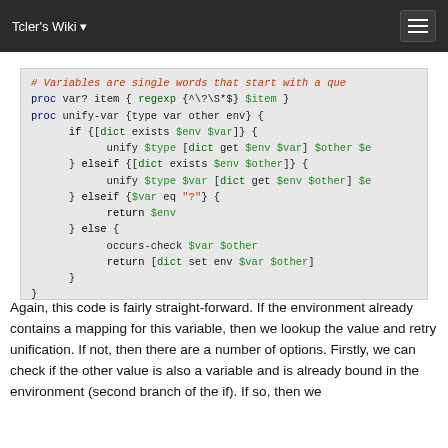Tcler's Wiki
[Figure (screenshot): Code block showing Tcl proc definitions for var? and unify-var with syntax highlighting]
Again, this code is fairly straight-forward. If the environment already contains a mapping for this variable, then we lookup the value and retry unification. If not, then there are a number of options. Firstly, we can check if the other value is also a variable and is already bound in the environment (second branch of the if). If so, then we